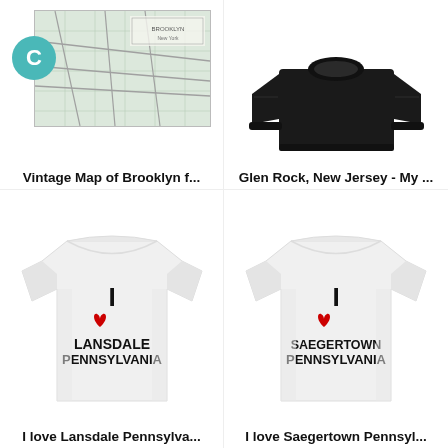[Figure (photo): Vintage map of Brooklyn product image with Cavendish C logo circle overlay]
Vintage Map of Brooklyn f...
[Figure (photo): Black crewneck sweatshirt - Glen Rock New Jersey product]
Glen Rock, New Jersey - My ...
[Figure (photo): White t-shirt with I Love Lansdale Pennsylvania print]
I love Lansdale Pennsylva...
[Figure (photo): White t-shirt with I Love Saegertown Pennsylvania print]
I love Saegertown Pennsyl...